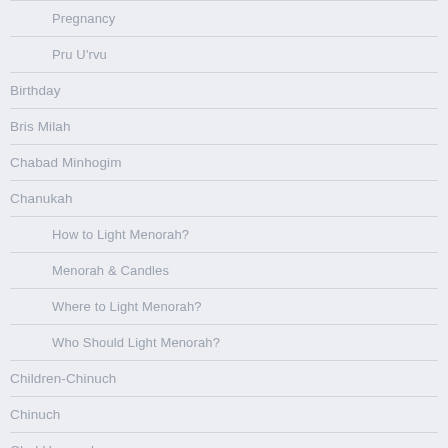Pregnancy
Pru U'rvu
Birthday
Bris Milah
Chabad Minhogim
Chanukah
How to Light Menorah?
Menorah & Candles
Where to Light Menorah?
Who Should Light Menorah?
Children-Chinuch
Chinuch
Chol Hamoed
Choshen Mishpat
Borrowing